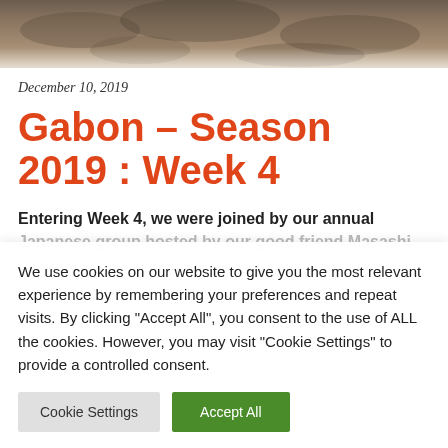[Figure (photo): Partial photo of what appears to be a sandy or rocky natural scene, cropped at top of page]
December 10, 2019
Gabon – Season 2019 : Week 4
Entering Week 4, we were joined by our annual Japanese group hosted by our good friend Masashi
We use cookies on our website to give you the most relevant experience by remembering your preferences and repeat visits. By clicking "Accept All", you consent to the use of ALL the cookies. However, you may visit "Cookie Settings" to provide a controlled consent.